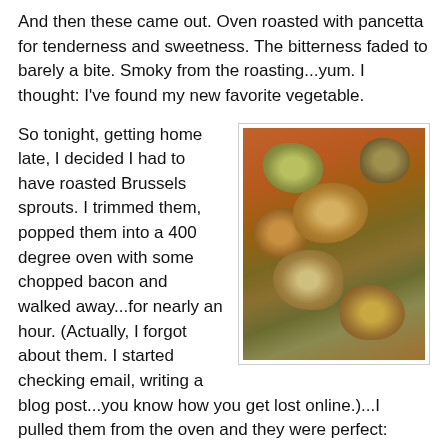And then these came out. Oven roasted with pancetta for tenderness and sweetness. The bitterness faded to barely a bite. Smoky from the roasting...yum. I thought: I've found my new favorite vegetable.
So tonight, getting home late, I decided I had to have roasted Brussels sprouts. I trimmed them, popped them into a 400 degree oven with some chopped bacon and walked away...for nearly an hour. (Actually, I forgot about them. I started checking email, writing a blog post...you know how you get lost online.)...I pulled them from the oven and they were perfect: perfectly seasoned, perfectly soft, perfectly sweet...Bacon goes a long way here, and maybe I was zealous (Chef Schwartz said not to be shy with the bacon...I took him at his word)...but really..these are gooo-00d.
[Figure (photo): Close-up photo of roasted Brussels sprouts with bacon in a roasting pan, golden brown and caramelized.]
The whole meal was about simple goodness--and for all I know, Schwartz gives his a touch of vinegar or a squeeze of